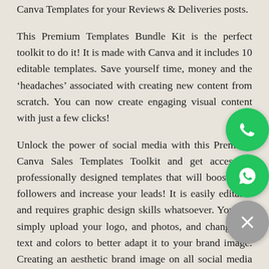Canva Templates for your Reviews & Deliveries posts.
This Premium Templates Bundle Kit is the perfect toolkit to do it! It is made with Canva and it includes 10 editable templates. Save yourself time, money and the 'headaches' associated with creating new content from scratch. You can now create engaging visual content with just a few clicks!
Unlock the power of social media with this Premium Canva Sales Templates Toolkit and get access to professionally designed templates that will boost your followers and increase your leads! It is easily editable and requires graphic design skills whatsoever. You can simply upload your logo, and photos, and change the text and colors to better adapt it to your brand image. Creating an aesthetic brand image on all social media platforms has never been easier!
Created with love for content creators, entrepreneurs,
[Figure (illustration): Three floating circular buttons on the right side: a green phone/call button at top, a green WhatsApp logo button in middle, and a grey close/X button at bottom.]